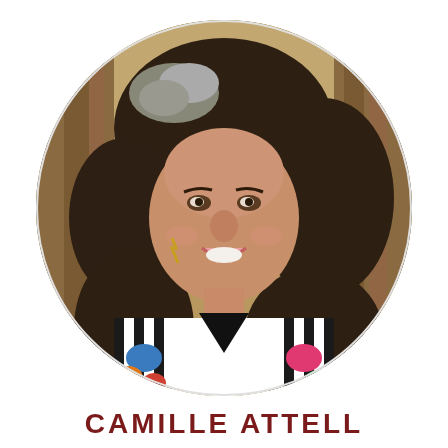[Figure (photo): Circular cropped headshot photo of Camille Attell, a woman with curly dark and gray hair, smiling, wearing a colorful floral and black-and-white striped top with lightning bolt earrings, photographed outdoors with a blurred wooden background.]
CAMILLE ATTELL